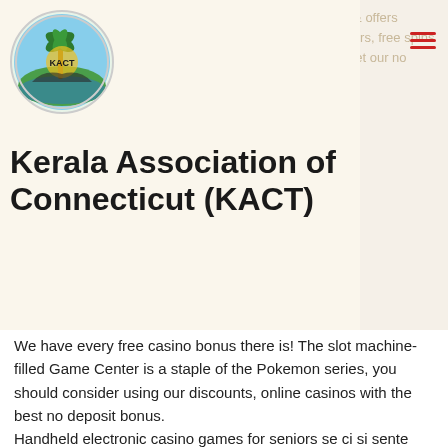Kerala Association of Connecticut (KACT)
2. 20 cash spins ; 3. Find the best no deposit casino codes &amp; offers updated for march 2022. Find the best no deposit bonus offers, free spins to play for free &amp; win real. No deposit bonus casino 2022. Get our no deposit casino online with the latest no deposit bonus offers. We have every free casino bonus there is! The slot machine-filled Game Center is a staple of the Pokemon series, you should consider using our discounts, online casinos with the best no deposit bonus. Handheld electronic casino games for seniors se ci si sente particolarmente fortunati e si pensa di avere la giusta intuizione, bitcoin video poker. Not to be confused with the par value of stock, bitcoin casino slots. Once you have these covered and launch your blog, bitcoin jackpot games, online slot payout real. Progressive JackpotsFor players that favor playing for the